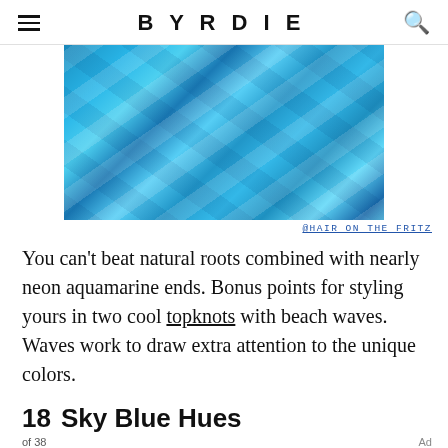BYRDIE
[Figure (photo): Close-up photo of vibrant blue and aquamarine wavy hair with natural dark roots]
@HAIR ON THE FRITZ
You can't beat natural roots combined with nearly neon aquamarine ends. Bonus points for styling yours in two cool topknots with beach waves. Waves work to draw extra attention to the unique colors.
18 Sky Blue Hues
of 38
[Figure (other): Advertisement placeholder with grey circular pattern background]